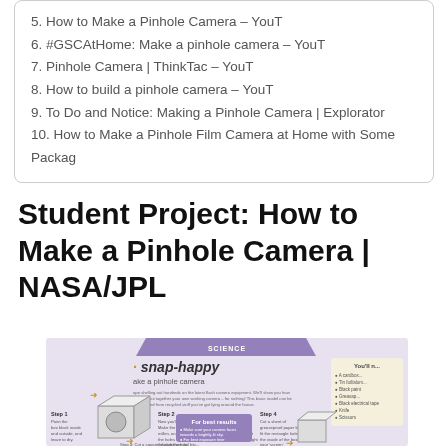5. How to Make a Pinhole Camera – YouT
6. #GSCAtHome: Make a pinhole camera – YouT
7. Pinhole Camera | ThinkTac – YouT
8. How to build a pinhole camera – YouT
9. To Do and Notice: Making a Pinhole Camera | Explorator
10. How to Make a Pinhole Film Camera at Home with Some Packag
Student Project: How to Make a Pinhole Camera | NASA/JPL
[Figure (infographic): NASA/JPL infographic titled 'snap-happy: make a pinhole camera' showing step-by-step instructions with box diagrams on a purple/tan background]